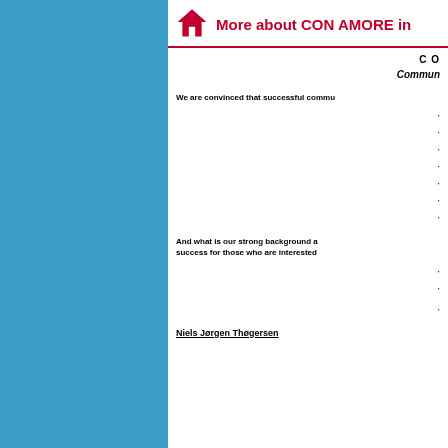More about CON AMORE in
C O
Commun
We are convinced that successful commu
·
·
·
·
·
·
·
And what is our strong background a success for those who are interested
·
·
·
Niels Jørgen Thøgersen